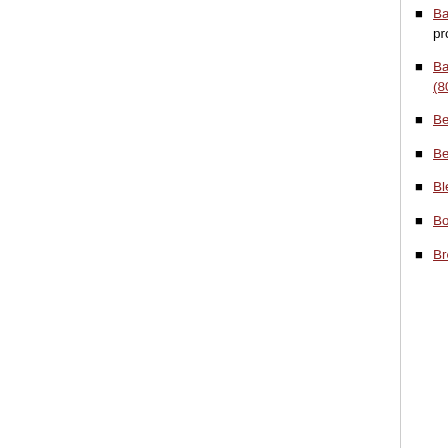Bannatyne, James Fitzgerald (256 Kb) , Exe... Fanningstown, Co. Limerick, Limerick Chronic... member of prominent Limerick milling family; ... 21/10/1915) (579 Kb)
Barry, Margaret (424 Kb) , Janesboro, Limer... 23/12/1915, wife of City Coroner, J. F. Barry; d... 28/12/1915) (801 Kb) (condolences, 04/01/19...
Benn, Rhoda Frances (227 Kb) , 2 St. Alpho... aged 2 years; daughter of Albert and Elizabet...
Bennett, Mary Norcott (née Hill) (258 Kb) , D... Limerick Chronicle 10/06/1915, native of Sout... notice
Blennerhasset, Letitia Grace (378 Kb) , Rock... Limerick Chronicle 01/04/1915, daughter of la... death notice
Boyd, Martha (308 Kb) , 2 Violet Villas, Lime... 14/08/1915, widow of James H. Boyd; death n...
Brown, Henry J. (801 Kb) , Mallow, Co. Cork... 11/12/1915, Colonel, R.M.F.; son of Pierce Br... notice